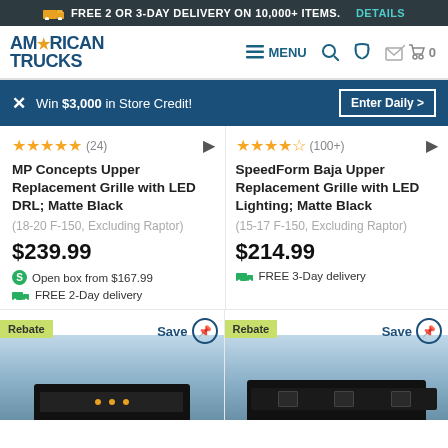🚚 FREE 2 OR 3-DAY DELIVERY ON 10,000+ ITEMS. DETAILS
[Figure (screenshot): AmericanTrucks logo with navigation bar including MENU, search, phone, and cart icons]
✕ Win $3,000 in Store Credit! Enter Daily >
[Figure (infographic): Two product listings side by side: Left: 5-star rating (24 reviews), MP Concepts Upper Replacement Grille with LED DRL; Matte Black (18-20 F-150, Excluding Raptor) $239.99, Open box from $167.99, FREE 2-Day delivery. Right: 4.5-star rating (100+ reviews), SpeedForm Baja Upper Replacement Grille with LED Lighting; Matte Black (15-17 F-150, Excluding Raptor) $214.99, FREE 3-Day delivery.]
[Figure (photo): Two truck front grille product images at the bottom, each with a Rebate badge and Save pin icon]